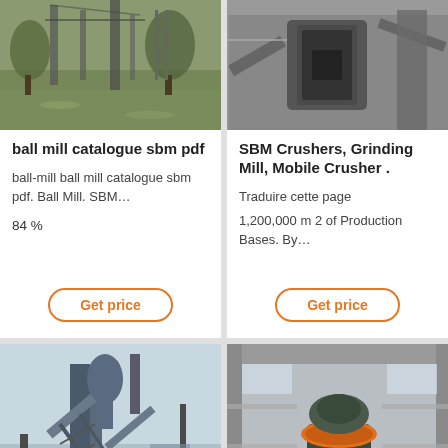[Figure (photo): Industrial ball mill equipment near water, outdoor setting with scaffolding]
ball mill catalogue sbm pdf
ball-mill ball mill catalogue sbm pdf. Ball Mill. SBM…
84 %
Get price
[Figure (photo): Industrial crusher or grinding mill machinery inside a large factory building]
SBM Crushers, Grinding Mill, Mobile Crusher .
Traduire cette page
1,200,000 m 2 of Production Bases. By…
Get price
[Figure (photo): Industrial plant with conveyor systems and dust collector towers, outdoor]
[Figure (photo): Large industrial vertical grinding mill machine in warehouse, orange and blue colored]